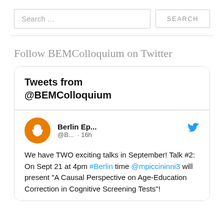Search …
SEARCH
Follow BEMColloquium on Twitter
[Figure (screenshot): Twitter widget showing Tweets from @BEMColloquium. A tweet from Berlin Ep... (@B...) posted 16h ago reads: We have TWO exciting talks in September! Talk #2: On Sept 21 at 4pm #Berlin time @mpiccininni3 will present "A Causal Perspective on Age-Education Correction in Cognitive Screening Tests"!]
Tweets from @BEMColloquium
Berlin Ep... @B... · 16h
We have TWO exciting talks in September! Talk #2: On Sept 21 at 4pm #Berlin time @mpiccininni3 will present "A Causal Perspective on Age-Education Correction in Cognitive Screening Tests"!